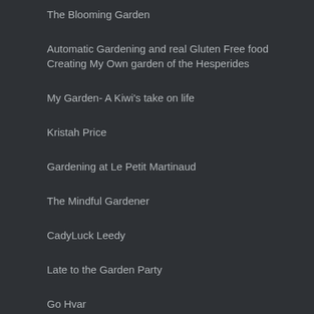The Blooming Garden
Automatic Gardening and real Gluten Free food
Creating My Own garden of the Hesperides
My Garden- A Kiwi's take on life
Kristah Price
Gardening at Le Petit Martinaud
The Mindful Gardener
CadyLuck Leedy
Late to the Garden Party
Go Hvar
Cathy's Real Country garden